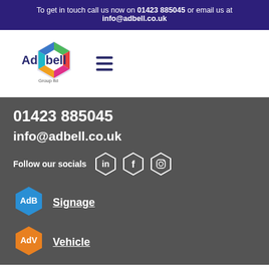To get in touch call us now on 01423 885045 or email us at info@adbell.co.uk
[Figure (logo): Adbell Group Ltd logo with colorful hexagon and text, plus hamburger menu icon]
01423 885045
info@adbell.co.uk
Follow our socials
[Figure (logo): Social media icons: LinkedIn, Facebook, Instagram in hexagon outlines]
[Figure (logo): AdB blue hexagon logo]
Signage
[Figure (logo): AdV orange hexagon logo]
Vehicle